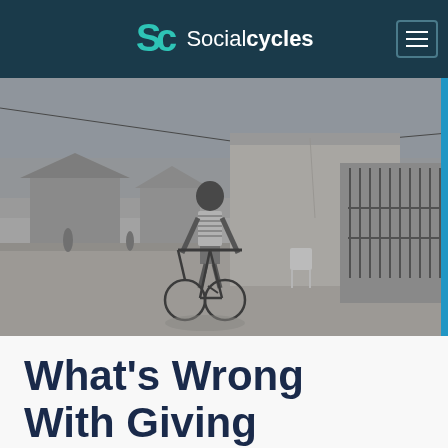Socialcycles
[Figure (photo): Black and white photograph of a child riding a bicycle on a street in a developing country, with simple buildings and a few other people visible in the background.]
What's Wrong With Giving